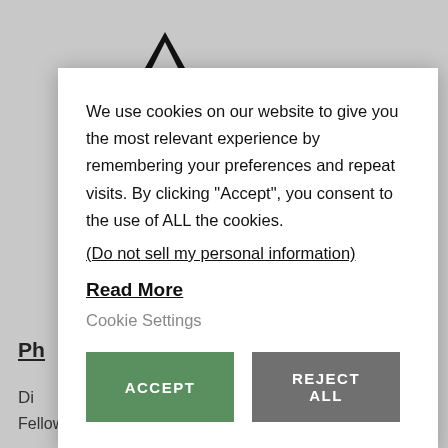[Figure (logo): Lambda or caret logo mark in top left area of background page]
Ph
Di
Ch
Ve
Ma
Tr
Sw
Fellowship
We use cookies on our website to give you the most relevant experience by remembering your preferences and repeat visits. By clicking “Accept”, you consent to the use of ALL the cookies.
(Do not sell my personal information)
Read More
Cookie Settings
ACCEPT
REJECT ALL